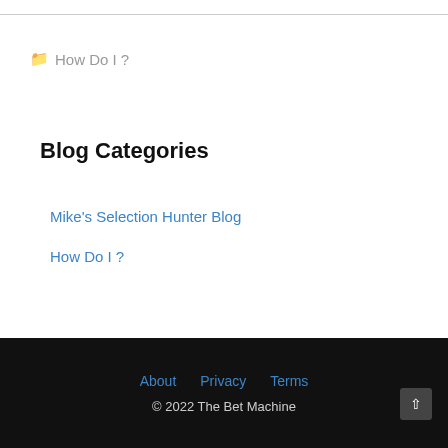📁 How Do I ?
Blog Categories
Mike's Selection Hunter Blog
How Do I ?
About   Privacy   Terms
© 2022 The Bet Machine